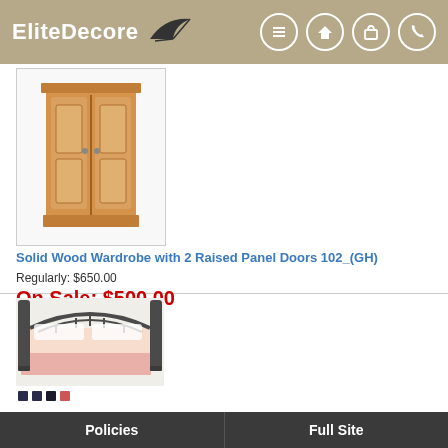EliteDecore
[Figure (photo): Solid wood wardrobe with 2 raised panel doors, light honey oak finish, tall cabinet with cornice top and base molding]
Solid Wood Wardrobe with 2 Raised Panel Doors 102_(GH)
Regularly: $650.00
On Sale: $500.00
You Save: $150.00
[Figure (photo): Twin size metal headboard bed with arched dark bronze frame, dressed with pink floral bedding and bed skirt, color swatch dots below]
Twin Size Head Board 2054 (A)
Regularly: $95.00
On Sale: $50.00
You Save: $45.00
Policies | Full Site